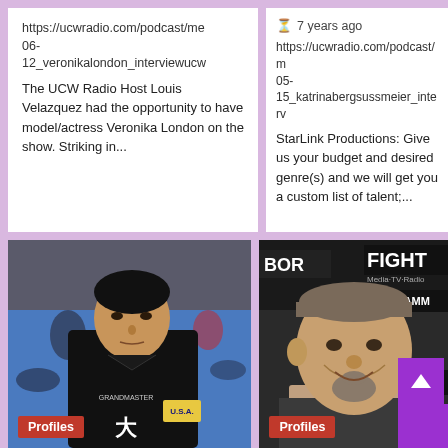https://ucwradio.com/podcast/me 06-12_veronikalondon_interviewucw The UCW Radio Host Louis Velazquez had the opportunity to have model/actress Veronika London on the show. Striking in...
7 years ago https://ucwradio.com/podcast/m 05-15_katrinabergsussmeier_interv StarLink Productions: Give us your budget and desired genre(s) and we will get you a custom list of talent;...
[Figure (photo): Asian man in a black martial arts uniform with USA patch practicing at a gym with blue mats]
Profiles
[Figure (photo): Middle-aged man with goatee smiling, with BORN and FIGHT Media TV Radio signage visible in background]
Profiles